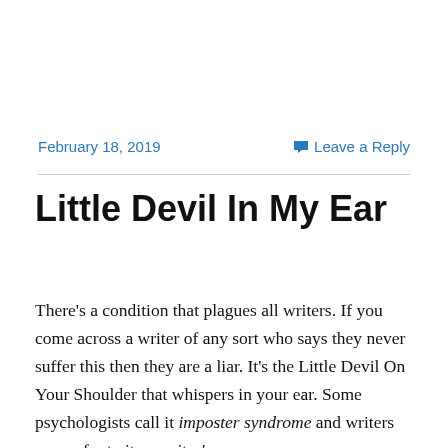February 18, 2019   Leave a Reply
Little Devil In My Ear
There's a condition that plagues all writers. If you come across a writer of any sort who says they never suffer this then they are a liar. It's the Little Devil On Your Shoulder that whispers in your ear. Some psychologists call it imposter syndrome and writers may refer to it as writer's